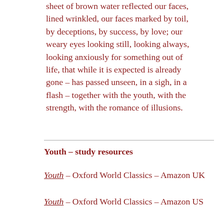sheet of brown water reflected our faces, lined wrinkled, our faces marked by toil, by deceptions, by success, by love; our weary eyes looking still, looking always, looking anxiously for something out of life, that while it is expected is already gone – has passed unseen, in a sigh, in a flash – together with the youth, with the strength, with the romance of illusions.
Youth – study resources
Youth – Oxford World Classics – Amazon UK
Youth – Oxford World Classics – Amazon US